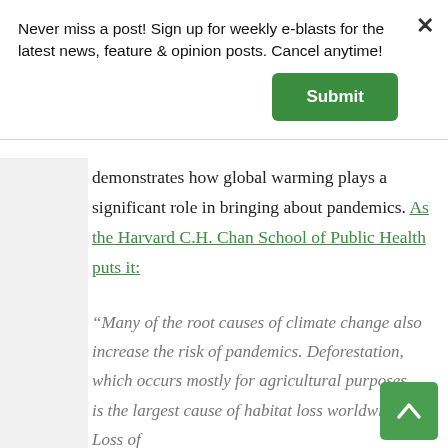Never miss a post! Sign up for weekly e-blasts for the latest news, feature & opinion posts. Cancel anytime!
Submit
demonstrates how global warming plays a significant role in bringing about pandemics. As the Harvard C.H. Chan School of Public Health puts it:
“Many of the root causes of climate change also increase the risk of pandemics. Deforestation, which occurs mostly for agricultural purposes, is the largest cause of habitat loss worldwide. Loss of